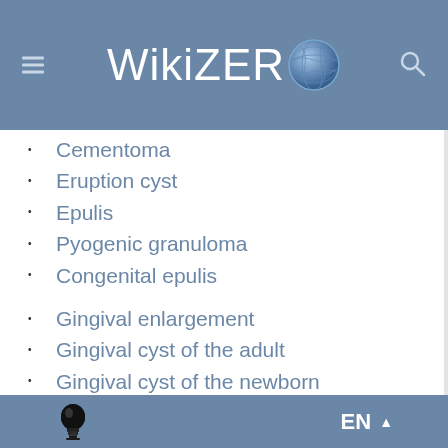WikiZero
Cementoma
Eruption cyst
Epulis
Pyogenic granuloma
Congenital epulis
Gingival enlargement
Gingival cyst of the adult
Gingival cyst of the newborn
Gingivitis
Desquamative
Granulomatous
Plasma cell
EN